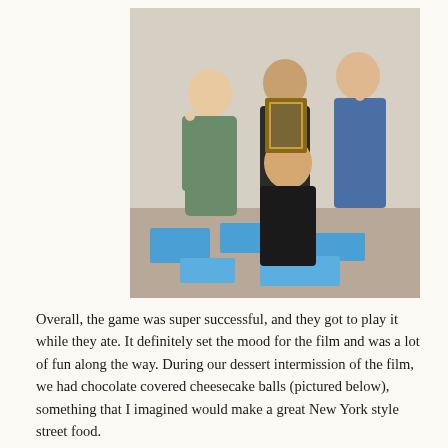[Figure (photo): Four people posing together indoors. Three women stand in the back and a man kneels in front. One of the women holds a framed picture. Blue papers are spread on the floor around them.]
Overall, the game was super successful, and they got to play it while they ate. It definitely set the mood for the film and was a lot of fun along the way. During our dessert intermission of the film, we had chocolate covered cheesecake balls (pictured below), something that I imagined would make a great New York style street food.